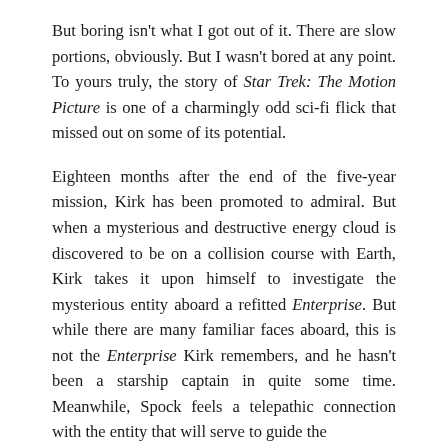But boring isn't what I got out of it. There are slow portions, obviously. But I wasn't bored at any point. To yours truly, the story of Star Trek: The Motion Picture is one of a charmingly odd sci-fi flick that missed out on some of its potential.
Eighteen months after the end of the five-year mission, Kirk has been promoted to admiral. But when a mysterious and destructive energy cloud is discovered to be on a collision course with Earth, Kirk takes it upon himself to investigate the mysterious entity aboard a refitted Enterprise. But while there are many familiar faces aboard, this is not the Enterprise Kirk remembers, and he hasn't been a starship captain in quite some time. Meanwhile, Spock feels a telepathic connection with the entity that will serve to guide the Enterprise in its mission.